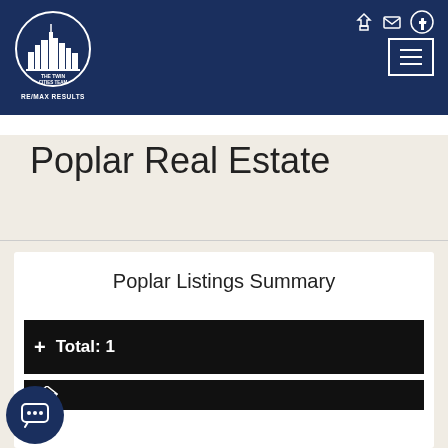[Figure (logo): The Twin Cities Team RE/MAX Results circular logo with city skyline, white on dark navy background]
RE/MAX RESULTS
Poplar Real Estate
Poplar Listings Summary
Total: 1